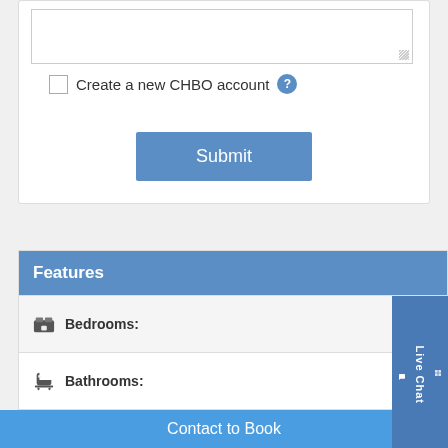[Figure (screenshot): Text area input field (empty)]
Create a new CHBO account
[Figure (other): Submit button]
Features
Bedrooms:
Bathrooms:
Square Feet: 82
Calendar Last Updated: 08/13/202
Contact to Book